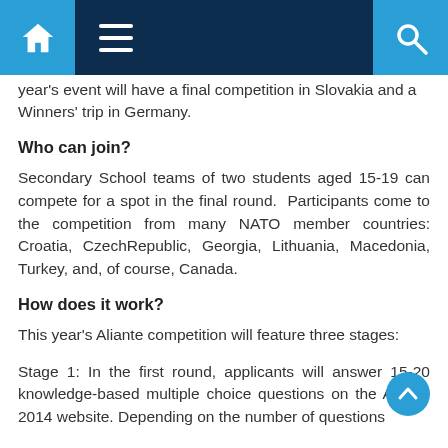Navigation bar with home, menu, and search icons
year's event will have a final competition in Slovakia and a Winners' trip in Germany.
Who can join?
Secondary School teams of two students aged 15-19 can compete for a spot in the final round.  Participants come to the competition from many NATO member countries: Croatia, CzechRepublic, Georgia, Lithuania, Macedonia, Turkey, and, of course, Canada.
How does it work?
This year's Aliante competition will feature three stages:
Stage 1: In the first round, applicants will answer 15-20 knowledge-based multiple choice questions on the Aliante 2014 website. Depending on the number of questions